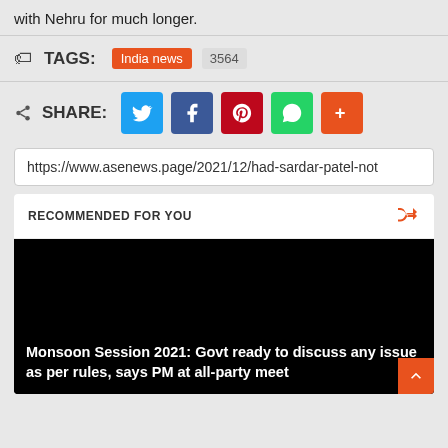with Nehru for much longer.
TAGS: India news 3564
SHARE: [Twitter] [Facebook] [Pinterest] [WhatsApp] [More]
https://www.asenews.page/2021/12/had-sardar-patel-not
RECOMMENDED FOR YOU
[Figure (photo): Dark/black image with white bold caption text: Monsoon Session 2021: Govt ready to discuss any issue as per rules, says PM at all-party meet]